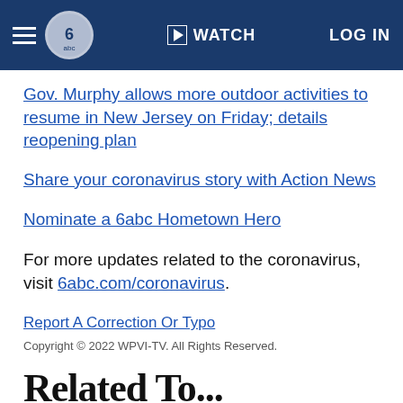6abc Action News — WATCH — LOG IN
Gov. Murphy allows more outdoor activities to resume in New Jersey on Friday; details reopening plan
Share your coronavirus story with Action News
Nominate a 6abc Hometown Hero
For more updates related to the coronavirus, visit 6abc.com/coronavirus.
Report A Correction Or Typo
Copyright © 2022 WPVI-TV. All Rights Reserved.
Related To...